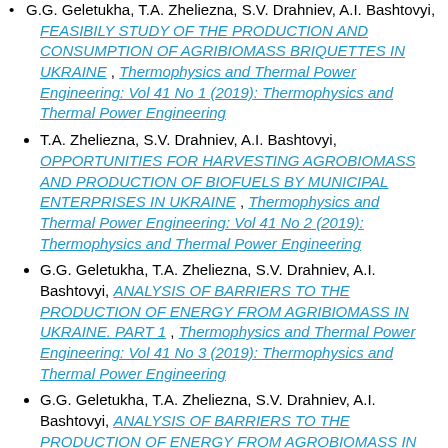G.G. Geletukha, T.A. Zheliezna, S.V. Drahniev, A.I. Bashtovyi, FEASIBILY STUDY OF THE PRODUCTION AND CONSUMPTION OF AGRIBIOMASS BRIQUETTES IN UKRAINE, Thermophysics and Thermal Power Engineering: Vol 41 No 1 (2019): Thermophysics and Thermal Power Engineering
T.A. Zheliezna, S.V. Drahniev, A.I. Bashtovyi, OPPORTUNITIES FOR HARVESTING AGROBIOMASS AND PRODUCTION OF BIOFUELS BY MUNICIPAL ENTERPRISES IN UKRAINE, Thermophysics and Thermal Power Engineering: Vol 41 No 2 (2019): Thermophysics and Thermal Power Engineering
G.G. Geletukha, T.A. Zheliezna, S.V. Drahniev, A.I. Bashtovyi, ANALYSIS OF BARRIERS TO THE PRODUCTION OF ENERGY FROM AGRIBIOMASS IN UKRAINE. PART 1, Thermophysics and Thermal Power Engineering: Vol 41 No 3 (2019): Thermophysics and Thermal Power Engineering
G.G. Geletukha, T.A. Zheliezna, S.V. Drahniev, A.I. Bashtovyi, ANALYSIS OF BARRIERS TO THE PRODUCTION OF ENERGY FROM AGROBIOMASS IN UKRAINE. PART 2, Thermophysics and Thermal Power Engineering: Vol 41 No 4 (2019): Thermophysics and Thermal Power Engineering